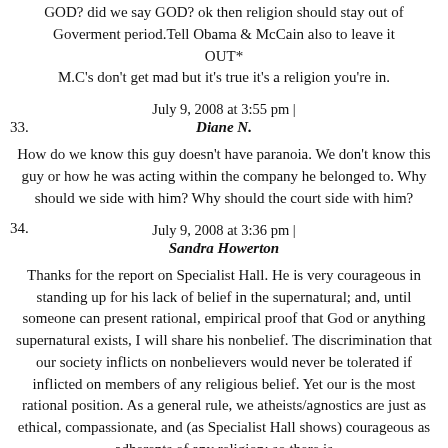GOD? did we say GOD? ok then religion should stay out of Goverment period.Tell Obama & McCain also to leave it OUT*
M.C's don't get mad but it's true it's a religion you're in.
July 9, 2008 at 3:55 pm |
33. Diane N.
How do we know this guy doesn't have paranoia. We don't know this guy or how he was acting within the company he belonged to. Why should we side with him? Why should the court side with him?
July 9, 2008 at 3:36 pm |
34. Sandra Howerton
Thanks for the report on Specialist Hall. He is very courageous in standing up for his lack of belief in the supernatural; and, until someone can present rational, empirical proof that God or anything supernatural exists, I will share his nonbelief. The discrimination that our society inflicts on nonbelievers would never be tolerated if inflicted on members of any religious belief. Yet our is the most rational position. As a general rule, we atheists/agnostics are just as ethical, compassionate, and (as Specialist Hall shows) courageous as adherents of any religion; so there is